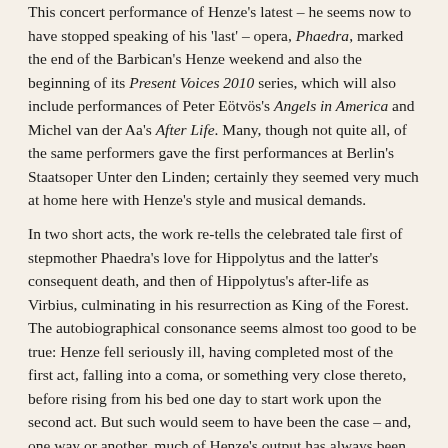This concert performance of Henze's latest – he seems now to have stopped speaking of his 'last' – opera, Phaedra, marked the end of the Barbican's Henze weekend and also the beginning of its Present Voices 2010 series, which will also include performances of Peter Eötvös's Angels in America and Michel van der Aa's After Life. Many, though not quite all, of the same performers gave the first performances at Berlin's Staatsoper Unter den Linden; certainly they seemed very much at home here with Henze's style and musical demands.
In two short acts, the work re-tells the celebrated tale first of stepmother Phaedra's love for Hippolytus and the latter's consequent death, and then of Hippolytus's after-life as Virbius, culminating in his resurrection as King of the Forest. The autobiographical consonance seems almost too good to be true: Henze fell seriously ill, having completed most of the first act, falling into a coma, or something very close thereto, before rising from his bed one day to start work upon the second act. But such would seem to have been the case – and, one way or another, much of Henze's output has always been autobiographical in its concerns. We may stand far away from Der langwierige Weg in die Wohnung der Natascha Ungeheuer, a warning of the perils of bourgeois leftism and perhaps the high-water mark of the